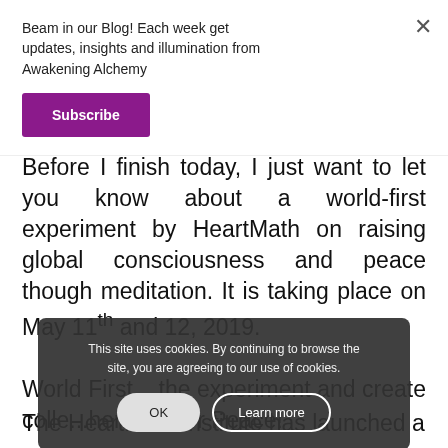Beam in our Blog! Each week get updates, insights and illumination from Awakening Alchemy
Subscribe
Before I finish today, I just want to let you know about a world-first experiment by HeartMath on raising global consciousness and peace though meditation. It is taking place on May 11th and 12, 2019.
This site uses cookies. By continuing to browse the site, you are agreeing to our use of cookies.
OK
Learn more
World First... the experiment and create colle...herence for Peace!
The HeartMath Institute has launched a